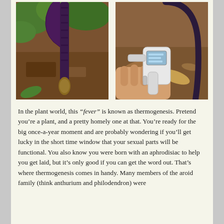[Figure (photo): Two side-by-side outdoor photos. Left: a dark purple plant stalk (arum/aroid type) emerging from mulched ground with green leaves in background. Right: a person holding a white infrared thermometer gun pointed at a dark curved plant stalk, with leaf litter on the ground.]
In the plant world, this “fever” is known as thermogenesis. Pretend you’re a plant, and a pretty homely one at that. You’re ready for the big once-a-year moment and are probably wondering if you’ll get lucky in the short time window that your sexual parts will be functional. You also know you were born with an aphrodisiac to help you get laid, but it’s only good if you can get the word out. That’s where thermogenesis comes in handy. Many members of the aroid family (think anthurium and philodendron) were